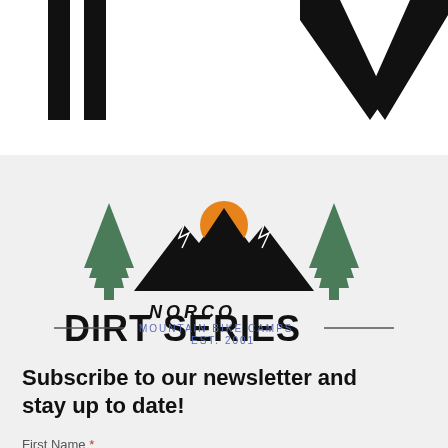[Figure (logo): Partial logo marks at top of page — two vertical black bars on left, stylized N/V chevron mark on right, white background]
[Figure (logo): Norco Dirt Series Mountain Bike Camps Est. 2001 logo — mountains with orange sun, pine trees, bold text on grey background]
Subscribe to our newsletter and stay up to date!
First Name *